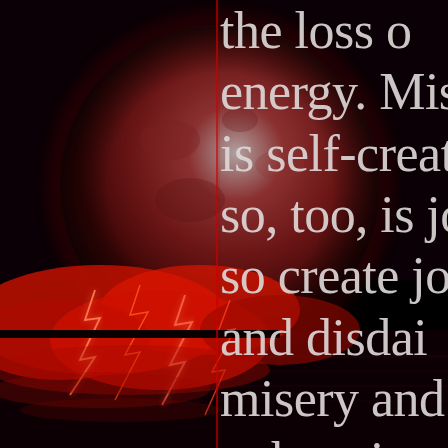[Figure (illustration): Dark dramatic scene with a large red blood moon rising over a stormy landscape with red lightning clouds and reflective water. Dark black background on the left side with a thin red vertical line. The right half overlays large white/light grey text.]
the loss of energy. Misery is self-created; so, too, is joy; so create joy and disdain misery and unhappiness. And this is...